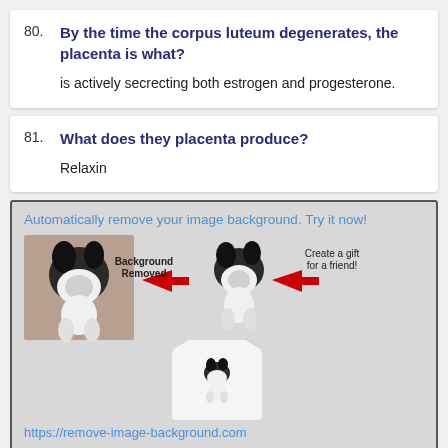80. By the time the corpus luteum degenerates, the placenta is what?
is actively secrecting both estrogen and progesterone.
81. What does they placenta produce?
Relaxin
[Figure (infographic): Advertisement for remove-image-background.com showing a dog photo with background removed and placed on a t-shirt. Text: 'Automatically remove your image background. Try it now!' and 'Background Removed', 'Create a gift for a friend!' with red arrows. URL: https://remove-image-background.com]